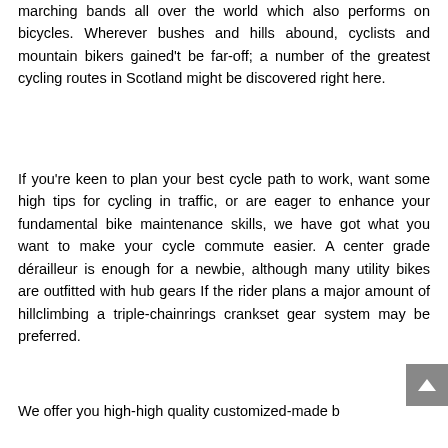marching bands all over the world which also performs on bicycles. Wherever bushes and hills abound, cyclists and mountain bikers gained't be far-off; a number of the greatest cycling routes in Scotland might be discovered right here.
If you're keen to plan your best cycle path to work, want some high tips for cycling in traffic, or are eager to enhance your fundamental bike maintenance skills, we have got what you want to make your cycle commute easier. A center grade dérailleur is enough for a newbie, although many utility bikes are outfitted with hub gears If the rider plans a major amount of hillclimbing a triple-chainrings crankset gear system may be preferred.
We offer you high-high quality customized-made b...